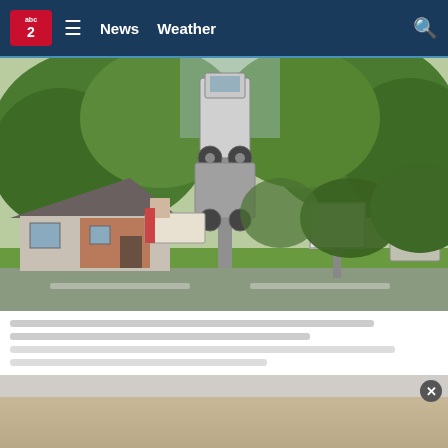abc2 ☰ News Weather 🔍
[Figure (photo): News photograph showing a large truck vertically balanced/tipped nearly upright against utility equipment near a residential home with green trees in the background. A road sign is visible in the foreground. Debris and construction equipment visible around a brick ranch-style house.]
[Caption text lines below photo - partially visible/blurred]
[Figure (photo): Bottom portion of page showing a partially visible advertisement/promo image with a close button (X in circle) in the upper right corner of the strip.]